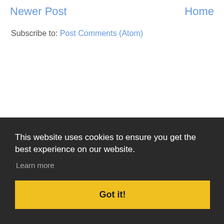Newer Post
Home
Subscribe to: Post Comments (Atom)
This website uses cookies to ensure you get the best experience on our website.
Learn more
Got it!